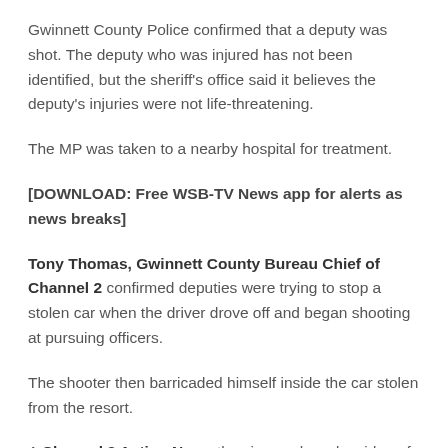Gwinnett County Police confirmed that a deputy was shot. The deputy who was injured has not been identified, but the sheriff's office said it believes the deputy's injuries were not life-threatening.
The MP was taken to a nearby hospital for treatment.
[DOWNLOAD: Free WSB-TV News app for alerts as news breaks]
Tony Thomas, Gwinnett County Bureau Chief of Channel 2 confirmed deputies were trying to stop a stolen car when the driver drove off and began shooting at pursuing officers.
The shooter then barricaded himself inside the car stolen from the resort.
A Channel 2 Action News the viewer shared a video of the